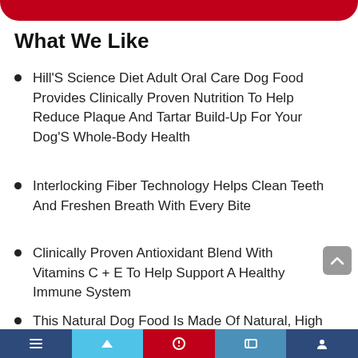What We Like
Hill'S Science Diet Adult Oral Care Dog Food Provides Clinically Proven Nutrition To Help Reduce Plaque And Tartar Build-Up For Your Dog'S Whole-Body Health
Interlocking Fiber Technology Helps Clean Teeth And Freshen Breath With Every Bite
Clinically Proven Antioxidant Blend With Vitamins C + E To Help Support A Healthy Immune System
This Natural Dog Food Is Made Of Natural, High Quality, Easy-To-Digest Ingredients, Plus Vitamins, Minerals And Amino Acids, With No